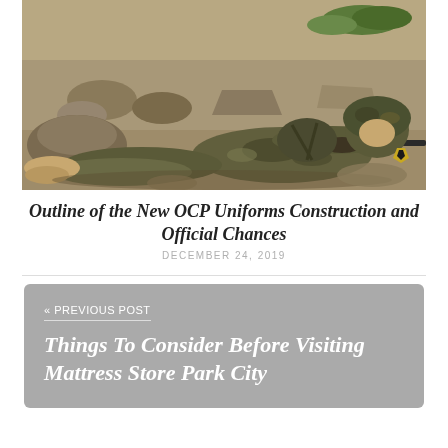[Figure (photo): A soldier in camouflage uniform lying prone on rocky/sandy ground aiming a rifle, wearing a helmet and full combat gear]
Outline of the New OCP Uniforms Construction and Official Chances
DECEMBER 24, 2019
« PREVIOUS POST
Things To Consider Before Visiting Mattress Store Park City